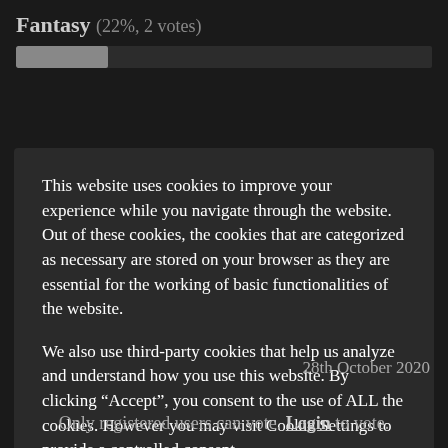Fantasy (22%, 2 votes)
This website uses cookies to improve your experience while you navigate through the website. Out of these cookies, the cookies that are categorized as necessary are stored on your browser as they are essential for the working of basic functionalities of the website.
We also use third-party cookies that help us analyze and understand how you use this website. By clicking “Accept”, you consent to the use of ALL the cookies. However you may visit Cookie Settings to provide a controlled consent.
Cookie settings   Accept
28th October 2020
Only registered users can vote. Login to vote.